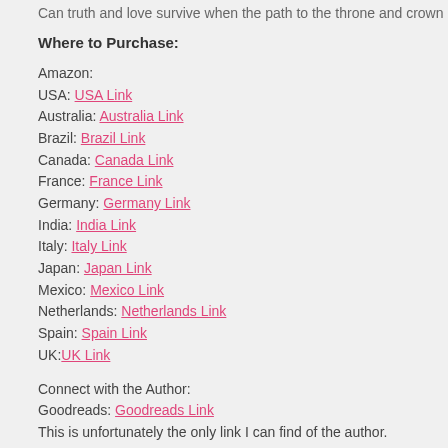Can truth and love survive when the path to the throne and crown is riddled w...
Where to Purchase:
Amazon:
USA: USA Link
Australia: Australia Link
Brazil: Brazil Link
Canada: Canada Link
France: France Link
Germany: Germany Link
India: India Link
Italy: Italy Link
Japan: Japan Link
Mexico: Mexico Link
Netherlands: Netherlands Link
Spain: Spain Link
UK: UK Link
Connect with the Author:
Goodreads: Goodreads Link
This is unfortunately the only link I can find of the author.